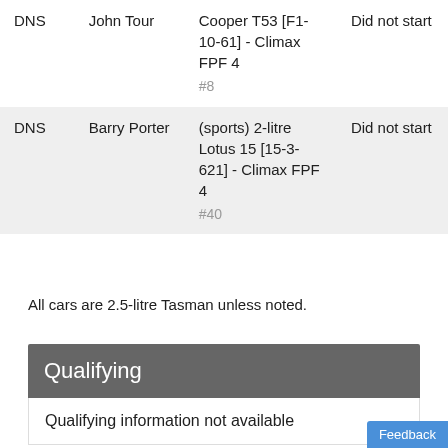|  | Driver | Car | Result |
| --- | --- | --- | --- |
| DNS | John Tour | Cooper T53 [F1-10-61] - Climax FPF 4
#8 | Did not start |
| DNS | Barry Porter | (sports) 2-litre Lotus 15 [15-3-621] - Climax FPF 4
#40 | Did not start |
All cars are 2.5-litre Tasman unless noted.
Qualifying
Qualifying information not available